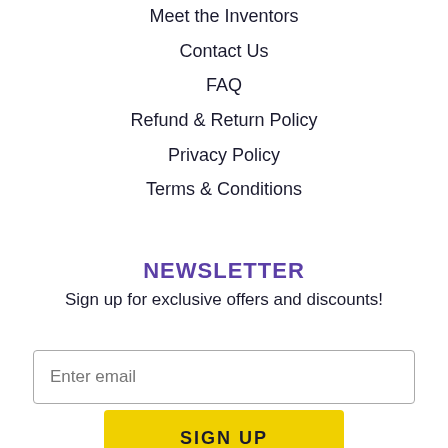Meet the Inventors
Contact Us
FAQ
Refund & Return Policy
Privacy Policy
Terms & Conditions
NEWSLETTER
Sign up for exclusive offers and discounts!
Enter email
SIGN UP